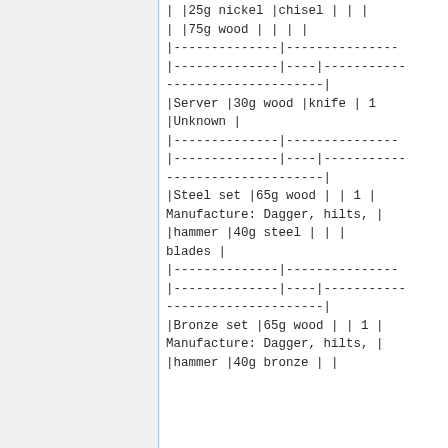| |25g nickel | |chisel | | | | |
| |75g wood | | | | | | |
| |--------------|-------------- |  |  |  |
| |--------------|----|----------- |  |  |  |
| ---------------------| |  |  |  |
| |Server | |30g wood | |knife | | 1 |
| |Unknown | |  |  |  |
| |--------------|-------------- |  |  |  |
| |--------------|----|----------- |  |  |  |
| ---------------------| |  |  |  |
| |Steel set | |65g wood | | | | 1 | |
| Manufacture: Dagger, hilts, | |  |  |  |
| |hammer | |40g steel | | | | | |
| blades | |  |  |  |
| |--------------|-------------- |  |  |  |
| |--------------|----|----------- |  |  |  |
| ---------------------| |  |  |  |
| |Bronze set | |65g wood | | | | 1 | |
| Manufacture: Dagger, hilts, | |  |  |  |
| |hammer | |40g bronze | | | | | |